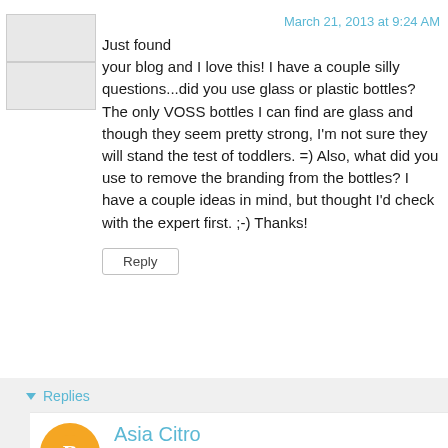March 21, 2013 at 9:24 AM
Just found your blog and I love this! I have a couple silly questions...did you use glass or plastic bottles? The only VOSS bottles I can find are glass and though they seem pretty strong, I'm not sure they will stand the test of toddlers. =) Also, what did you use to remove the branding from the bottles? I have a couple ideas in mind, but thought I'd check with the expert first. ;-) Thanks!
Reply
Replies
Asia Citro
March 21, 2013 at 9:33 AM